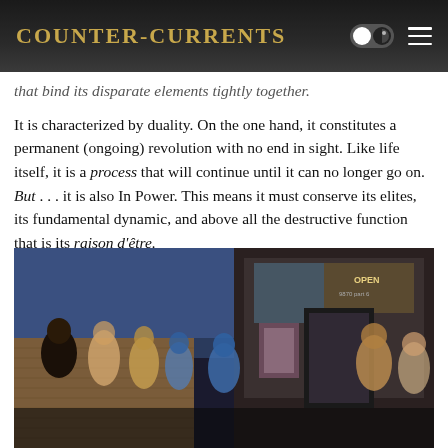Counter-Currents
that bind its disparate elements tightly together.
It is characterized by duality. On the one hand, it constitutes a permanent (ongoing) revolution with no end in sight. Like life itself, it is a process that will continue until it can no longer go on. But . . . it is also In Power. This means it must conserve its elites, its fundamental dynamic, and above all the destructive function that is its raison d'être.
[Figure (photo): Street scene showing a group of people outside a brick building with an OPEN sign visible in the window at night]